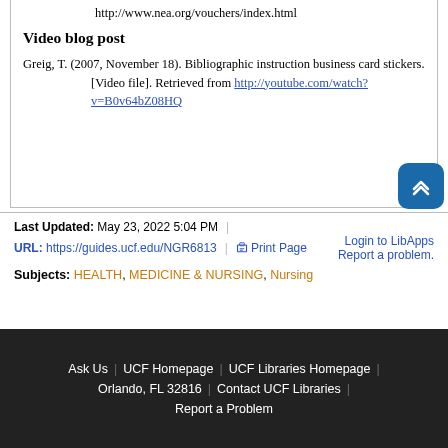http://www.nea.org/vouchers/index.html
Video blog post
Greig, T. (2007, November 18). Bibliographic instruction business card stickers. [Video file]. Retrieved from http://youtube.com/watch?v=B0v64bZ08HQ
Last Updated: May 23, 2022 5:04 PM | URL: https://guides.ucf.edu/NGR6813 | Print Page | Login to LibApps | Report a problem.
Subjects: HEALTH, MEDICINE & NURSING, Nursing
Ask Us | UCF Homepage | UCF Libraries Homepage | Orlando, FL 32816 | Contact UCF Libraries | Report a Problem